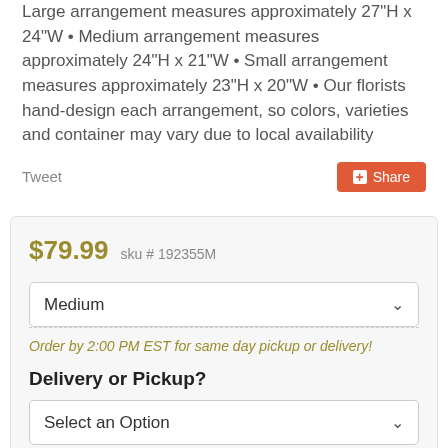Large arrangement measures approximately 27"H x 24"W • Medium arrangement measures approximately 24"H x 21"W • Small arrangement measures approximately 23"H x 20"W • Our florists hand-design each arrangement, so colors, varieties and container may vary due to local availability
Tweet
Share
$79.99  sku # 192355M
Medium
Order by 2:00 PM EST for same day pickup or delivery!
Delivery or Pickup?
Select an Option